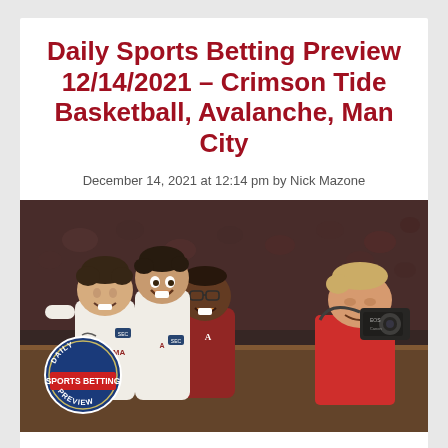Daily Sports Betting Preview 12/14/2021 – Crimson Tide Basketball, Avalanche, Man City
December 14, 2021 at 12:14 pm by Nick Mazone
[Figure (photo): Alabama Crimson Tide basketball players celebrating on court, smiling and laughing, with a photographer in red nearby. A Daily Sports Betting Preview badge is overlaid on the lower left.]
The Alabama Crimson Tide have -110